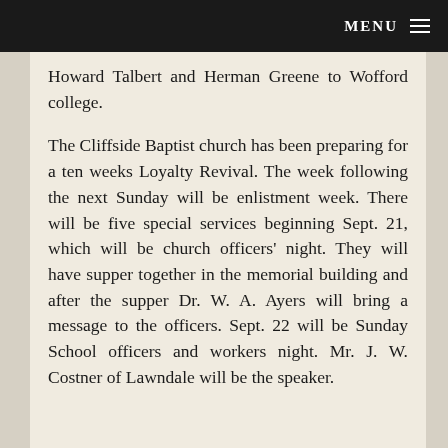MENU
Howard Talbert and Herman Greene to Wofford college.
The Cliffside Baptist church has been preparing for a ten weeks Loyalty Revival. The week following the next Sunday will be enlistment week. There will be five special services beginning Sept. 21, which will be church officers' night. They will have supper together in the memorial building and after the supper Dr. W. A. Ayers will bring a message to the officers. Sept. 22 will be Sunday School officers and workers night. Mr. J. W. Costner of Lawndale will be the speaker.